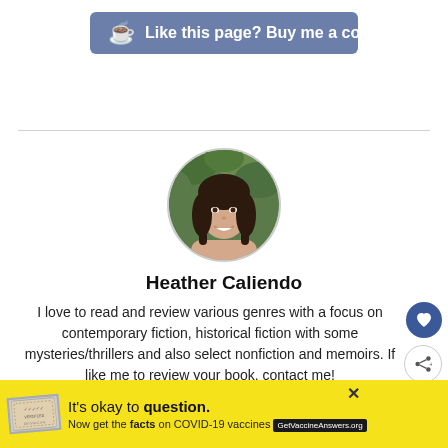[Figure (infographic): Blue rounded rectangle button with coffee cup emoji and text 'Like this page? Buy me a coffee.']
[Figure (photo): Circular profile photo of a woman with long dark hair, smiling, outdoors with green foliage background]
Heather Caliendo
I love to read and review various genres with a focus on contemporary fiction, historical fiction with some mysteries/thrillers and also select nonfiction and memoirs. If like me to review your book, contact me!
[Figure (infographic): Yellow advertisement banner: stamp image, text 'It’s okay to question. Now get the facts on COVID-19 vaccines GetVaccineAnswers.org']